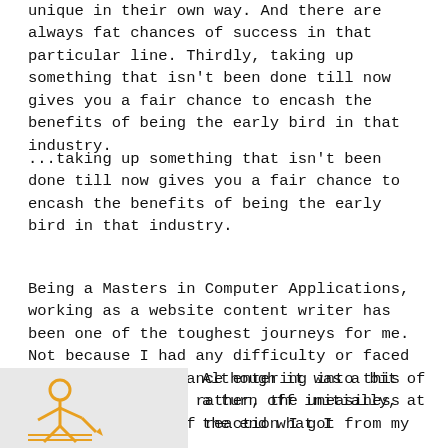unique in their own way. And there are always fat chances of success in that particular line. Thirdly, taking up something that isn't been done till now gives you a fair chance to encash the benefits of being the early bird in that industry.
...taking up something that isn't been done till now gives you a fair chance to encash the benefits of being the early bird in that industry.
Being a Masters in Computer Applications, working as a website content writer has been one of the toughest journeys for me. Not because I had any difficulty or faced any kind of hindrance entering into this world of writers; rather, the uneasiness lay in the kind of reaction I got from my surroundings.
[Figure (illustration): Stick figure illustration of a person writing, in orange/yellow color on light grey background]
Although it was a bit of a turn off initially, at the end what I